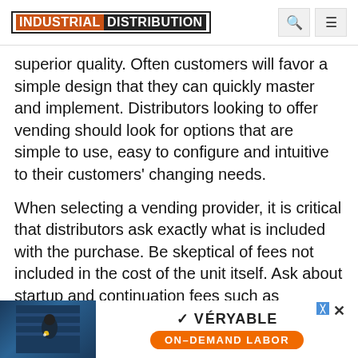INDUSTRIAL DISTRIBUTION
superior quality. Often customers will favor a simple design that they can quickly master and implement. Distributors looking to offer vending should look for options that are simple to use, easy to configure and intuitive to their customers' changing needs.
When selecting a vending provider, it is critical that distributors ask exactly what is included with the purchase. Be skeptical of fees not included in the cost of the unit itself. Ask about startup and continuation fees such as machine rental costs, software leasing fees, cellular connections, feature add-on... rating fees ar... ering your budget.
[Figure (other): Veryable On-Demand Labor advertisement banner with welder photo and orange button]